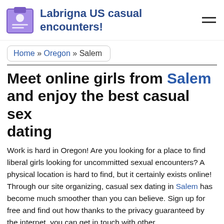Labrigna US casual encounters!
Home » Oregon » Salem
Meet online girls from Salem and enjoy the best casual sex dating
Work is hard in Oregon! Are you looking for a place to find liberal girls looking for uncommitted sexual encounters? A physical location is hard to find, but it certainly exists online! Through our site organizing, casual sex dating in Salem has become much smoother than you can believe. Sign up for free and find out how thanks to the privacy guaranteed by the internet, you can get in touch with other